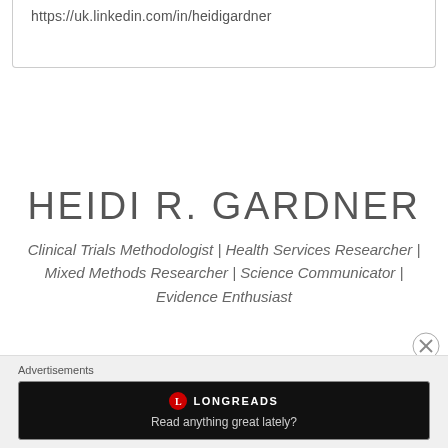https://uk.linkedin.com/in/heidigardner
HEIDI R. GARDNER
Clinical Trials Methodologist | Health Services Researcher | Mixed Methods Researcher | Science Communicator | Evidence Enthusiast
Advertisements
[Figure (other): Longreads advertisement banner with text 'Read anything great lately?']